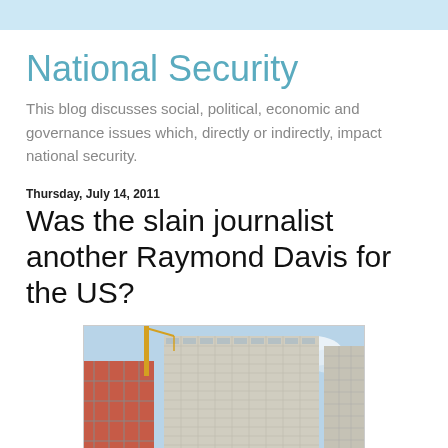National Security
This blog discusses social, political, economic and governance issues which, directly or indirectly, impact national security.
Thursday, July 14, 2011
Was the slain journalist another Raymond Davis for the US?
[Figure (photo): Photograph of a tall multi-story building with construction crane visible to the left, taken from a low angle looking upward against a partly cloudy sky.]